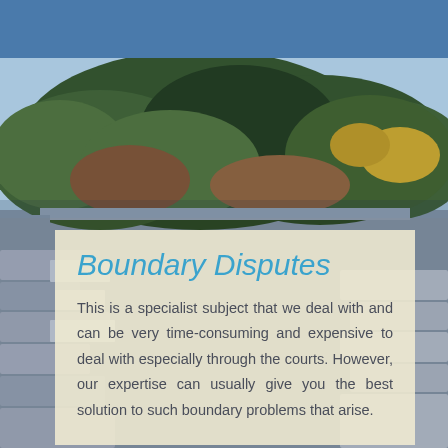[Figure (photo): A painted or artistic photograph showing a wall or boundary with trees/foliage behind it, with a blue header bar at the top]
Boundary Disputes
This is a specialist subject that we deal with and can be very time-consuming and expensive to deal with especially through the courts. However, our expertise can usually give you the best solution to such boundary problems that arise.